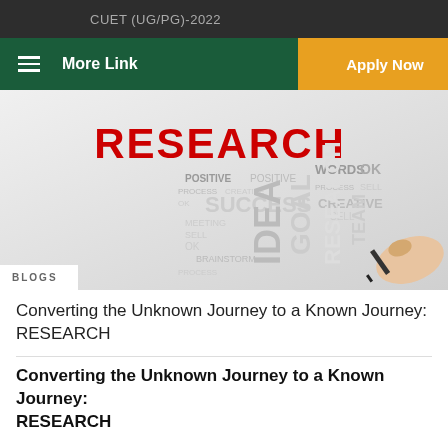CUET (UG/PG)-2022
More Link   Apply Now
[Figure (illustration): Word cloud research image with RESEARCH in large red text, surrounded by words like SUCCESS, IDEA, GOAL, POSITIVE, CREATIVE, PROCESS, BRAINSTORM, TEAM, SELL, WORDS, MEETING, OK, with a hand holding a pen writing]
BLOGS
Converting the Unknown Journey to a Known Journey: RESEARCH
Converting the Unknown Journey to a Known Journey: RESEARCH
The world is surging ahead at a high pace, where we cannot afford a high gestation period for research. In such